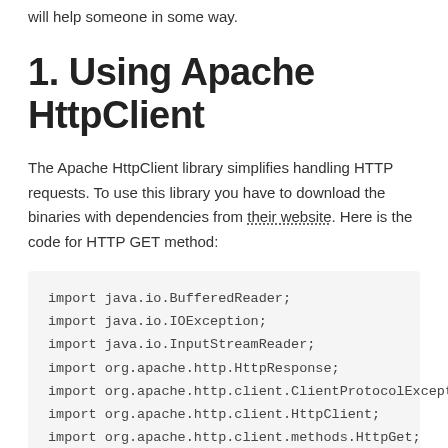will help someone in some way.
1. Using Apache HttpClient
The Apache HttpClient library simplifies handling HTTP requests. To use this library you have to download the binaries with dependencies from their website. Here is the code for HTTP GET method:
import java.io.BufferedReader;
import java.io.IOException;
import java.io.InputStreamReader;
import org.apache.http.HttpResponse;
import org.apache.http.client.ClientProtocolException;
import org.apache.http.client.HttpClient;
import org.apache.http.client.methods.HttpGet;
import org.apache.http.impl.client.DefaultHttpClient;